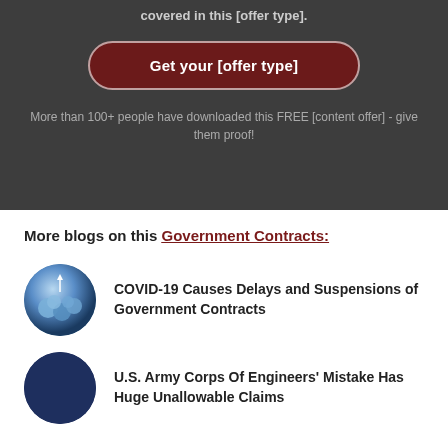covered in this [offer type].
Get your [offer type]
More than 100+ people have downloaded this FREE [content offer] - give them proof!
More blogs on this Government Contracts:
COVID-19 Causes Delays and Suspensions of Government Contracts
U.S. Army Corps Of Engineers' Mistake Has Huge Unallowable Claims